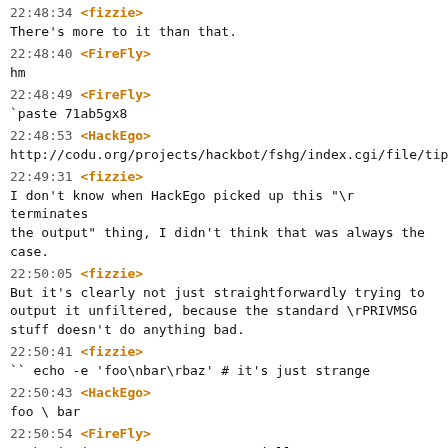22:48:34 <fizzie>
There's more to it than that.
22:48:40 <FireFly>
hm
22:48:49 <FireFly>
`paste 71ab5gx8
22:48:53 <HackEgo>
http://codu.org/projects/hackbot/fshg/index.cgi/file/tip/
22:49:31 <fizzie>
I don't know when HackEgo picked up this "\r terminates the output" thing, I didn't think that was always the case.
22:50:05 <fizzie>
But it's clearly not just straightforwardly trying to output it unfiltered, because the standard \rPRIVMSG stuff doesn't do anything bad.
22:50:41 <fizzie>
`` echo -e 'foo\nbar\rbaz'  # it's just strange
22:50:43 <HackEgo>
foo \ bar
22:50:54 <FireFly>
Maybe it just acts as EOF essentially
22:51:04 <fizzie>